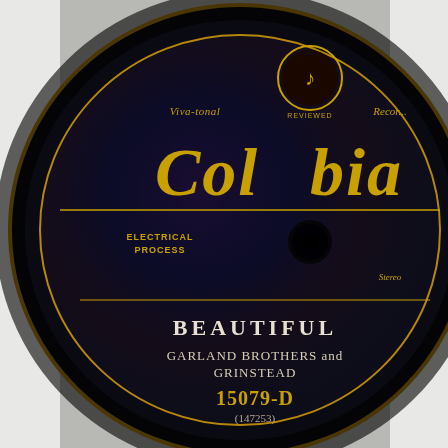[Figure (photo): Close-up photograph of a vintage Columbia Records 78rpm record label. The label is dark/black with gold lettering. Visible text includes 'Viva-tonal', 'Columbia' in large gold letters, 'ELECTRICAL PROCESS', 'BEAUTIFUL', 'GARLAND BROTHERS and GRINSTEAD', '15079-D', '(147253)'. There is a Columbia logo (musical note in a circle) at the top center, and 'Recorded' text. The record has a center hole visible in the middle.]